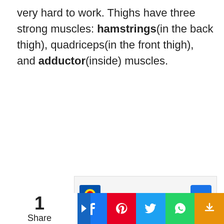very hard to work. Thighs have three strong muscles: hamstrings(in the back thigh), quadriceps(in the front thigh), and adductor(inside) muscles.
[Figure (other): Advertisement banner showing Lidl logo with 'In-store shopping' text and navigation arrow button]
[Figure (other): Social share bar with numbered share count and buttons for Facebook, Pinterest, Twitter, WhatsApp, and more sharing options]